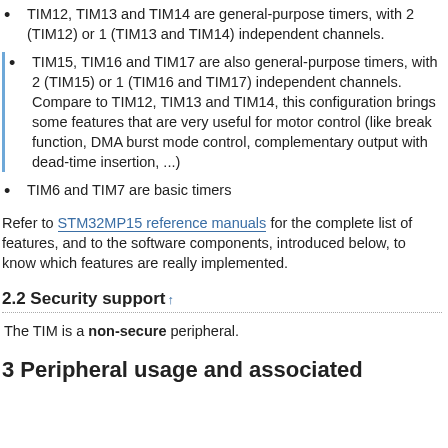TIM12, TIM13 and TIM14 are general-purpose timers, with 2 (TIM12) or 1 (TIM13 and TIM14) independent channels.
TIM15, TIM16 and TIM17 are also general-purpose timers, with 2 (TIM15) or 1 (TIM16 and TIM17) independent channels. Compare to TIM12, TIM13 and TIM14, this configuration brings some features that are very useful for motor control (like break function, DMA burst mode control, complementary output with dead-time insertion, ...)
TIM6 and TIM7 are basic timers
Refer to STM32MP15 reference manuals for the complete list of features, and to the software components, introduced below, to know which features are really implemented.
2.2 Security support↑
The TIM is a non-secure peripheral.
3 Peripheral usage and associated